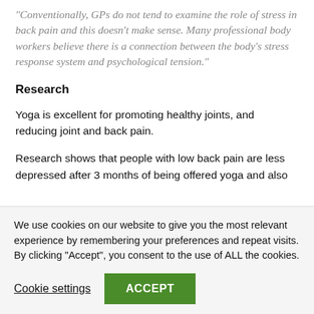"Conventionally, GPs do not tend to examine the role of stress in back pain and this doesn't make sense. Many professional body workers believe there is a connection between the body's stress response system and psychological tension."
Research
Yoga is excellent for promoting healthy joints, and reducing joint and back pain.
Research shows that people with low back pain are less depressed after 3 months of being offered yoga and also [continues below]
We use cookies on our website to give you the most relevant experience by remembering your preferences and repeat visits. By clicking "Accept", you consent to the use of ALL the cookies.
Cookie settings
ACCEPT